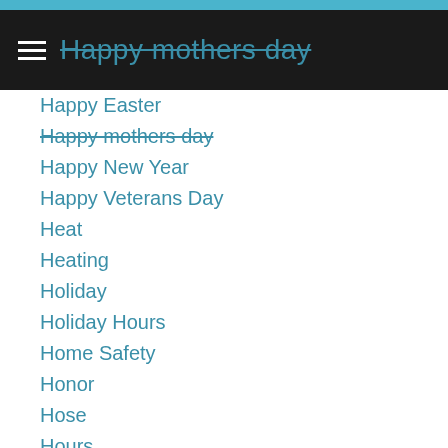Happy mothers day
Happy Easter
Happy mothers day
Happy New Year
Happy Veterans Day
Heat
Heating
Holiday
Holiday Hours
Home Safety
Honor
Hose
Hours
Humid
Humidifier
HVAC
Kitchen
Kitchen Design
Kitchen Sink